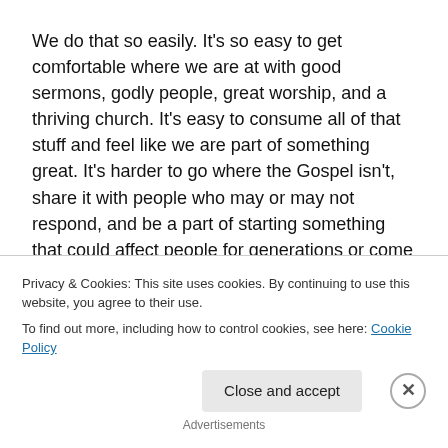We do that so easily. It's so easy to get comfortable where we are at with good sermons, godly people, great worship, and a thriving church. It's easy to consume all of that stuff and feel like we are part of something great. It's harder to go where the Gospel isn't, share it with people who may or may not respond, and be a part of starting something that could affect people for generations or come to nothing.
These words launched me into organic church planting. But they could be said both of traditional churches and
Privacy & Cookies: This site uses cookies. By continuing to use this website, you agree to their use.
To find out more, including how to control cookies, see here: Cookie Policy
Close and accept
Advertisements